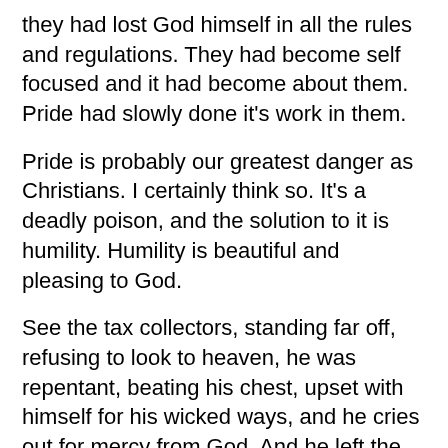they had lost God himself in all the rules and regulations. They had become self focused and it had become about them. Pride had slowly done it's work in them.
Pride is probably our greatest danger as Christians. I certainly think so. It's a deadly poison, and the solution to it is humility. Humility is beautiful and pleasing to God.
See the tax collectors, standing far off, refusing to look to heaven, he was repentant, beating his chest, upset with himself for his wicked ways, and he cries out for mercy from God. And he left the temple that day justified before God. The Pharisee left poisoned and arrogant.
Thankfully for us as Christians we have the Holy Spirit living inside of us. And when we begin to get